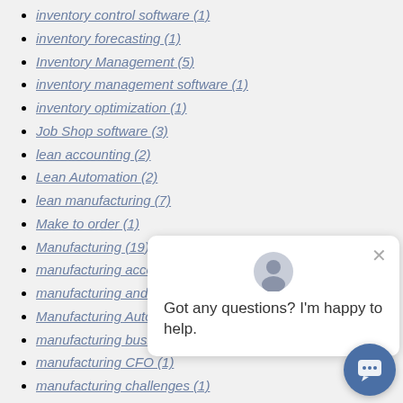inventory control software (1)
inventory forecasting (1)
Inventory Management (5)
inventory management software (1)
inventory optimization (1)
Job Shop software (3)
lean accounting (2)
Lean Automation (2)
lean manufacturing (7)
Make to order (1)
Manufacturing (19)
manufacturing accounting (1)
manufacturing and distrib…
Manufacturing Automation…
manufacturing business (…
manufacturing CFO (1)
manufacturing challenges (1)
manufacturing cloud (2)
manufacturing cloud ERP (1)
manufacturing consultants (2)
manufacturing costing (1)
[Figure (screenshot): Chat popup with avatar icon and message 'Got any questions? I'm happy to help.' with a close button, and a dark blue circular chat button at bottom right.]